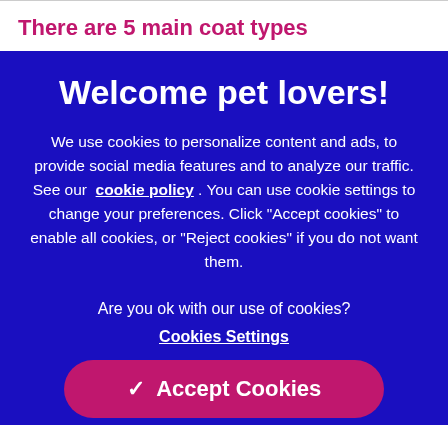There are 5 main coat types
Welcome pet lovers!
We use cookies to personalize content and ads, to provide social media features and to analyze our traffic. See our cookie policy. You can use cookie settings to change your preferences. Click "Accept cookies" to enable all cookies, or "Reject cookies" if you do not want them.
Are you ok with our use of cookies?
Cookies Settings
✓ Accept Cookies